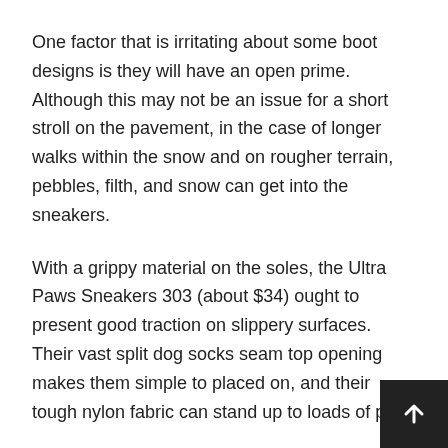One factor that is irritating about some boot designs is they will have an open prime. Although this may not be an issue for a short stroll on the pavement, in the case of longer walks within the snow and on rougher terrain, pebbles, filth, and snow can get into the sneakers.
With a grippy material on the soles, the Ultra Paws Sneakers 303 (about $34) ought to present good traction on slippery surfaces. Their vast split dog socks seam top opening makes them simple to placed on, and their tough nylon fabric can stand up to loads of play.
If you’re purchasing for the perfect socks for canine, there are some things to keep in mind. Taking your canine with you to the store will not be crucial, since it’s unlikely you https://smartdogstuff.com/dog-socks/ can check” the so out there. Simply measuring after which ordering on-line